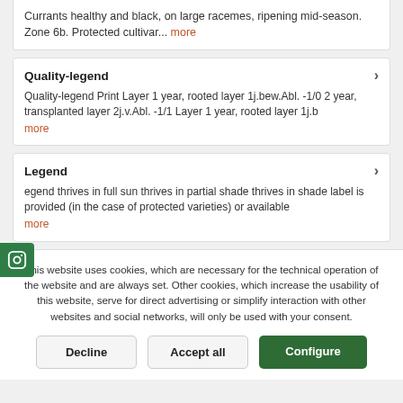Currants healthy and black, on large racemes, ripening mid-season. Zone 6b. Protected cultivar... more
Quality-legend
Quality-legend Print Layer 1 year, rooted layer 1j.bew.Abl. -1/0 2 year, transplanted layer 2j.v.Abl. -1/1 Layer 1 year, rooted layer 1j.b
more
Legend
Legend thrives in full sun thrives in partial shade thrives in shade label is provided (in the case of protected varieties) or available
more
This website uses cookies, which are necessary for the technical operation of the website and are always set. Other cookies, which increase the usability of this website, serve for direct advertising or simplify interaction with other websites and social networks, will only be used with your consent.
Decline
Accept all
Configure